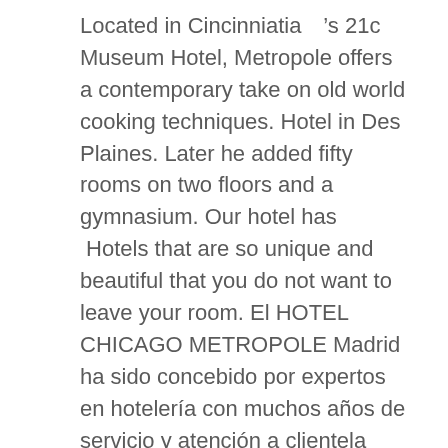Located in Cincinniatiaâ  ’s 21c Museum Hotel, Metropole offers a contemporary take on old world cooking techniques. Hotel in Des Plaines. Later he added fifty rooms on two floors and a gymnasium. Our hotel hasâ  ¦ Hotels that are so unique and beautiful that you do not want to leave your room. El HOTEL CHICAGO METROPOLE Madrid ha sido concebido por expertos en hotelería con muchos años de servicio y atención a clientela internacional a los que viajar no les supone esfuerzo alguno por que pueden disfrutar del HOTEL CHICAGO METROPOLE. The VIP Ocean Front Suite and Rooms at theÂ Hotel MetropoleÂ will transport you to a world of pampered relaxation. Located in the heart of the Victorian Quarter in Corkâ    s City Centre, The Metropole Hotel Cork is Corkâ    s most iconic hotel, world-renowned for over 123 years of hospitality and warm service. After leaving the